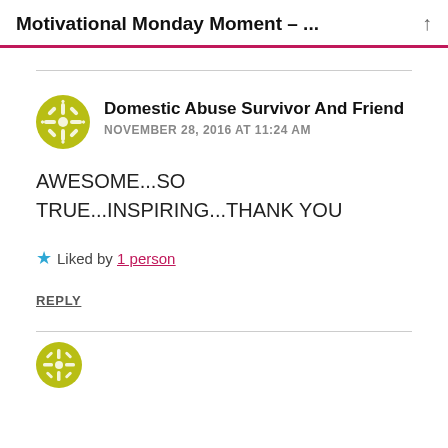Motivational Monday Moment – ...
Domestic Abuse Survivor And Friend
NOVEMBER 28, 2016 AT 11:24 AM
AWESOME...SO TRUE...INSPIRING...THANK YOU
Liked by 1 person
REPLY